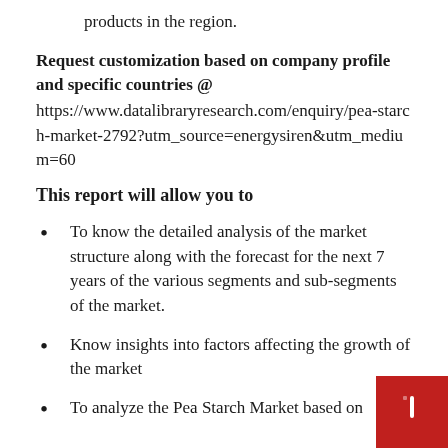products in the region.
Request customization based on company profile and specific countries @ https://www.datalibraryresearch.com/enquiry/pea-starch-market-2792?utm_source=energysiren&utm_medium=60
This report will allow you to
To know the detailed analysis of the market structure along with the forecast for the next 7 years of the various segments and sub-segments of the market.
Know insights into factors affecting the growth of the market
To analyze the Pea Starch Market based on